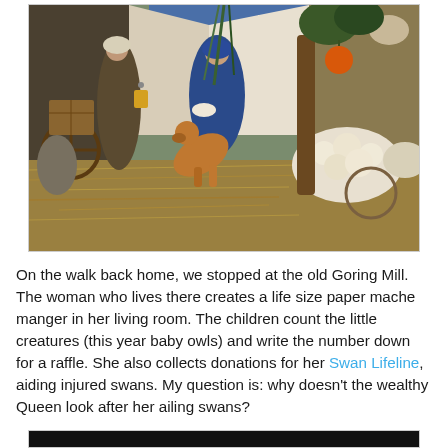[Figure (photo): A decorative nativity scene display with life-size paper mache figures including Mary holding baby Jesus, Joseph standing with a lantern, animals including a dog/fox and sheep, hay, trees, and a starry backdrop.]
On the walk back home, we stopped at the old Goring Mill. The woman who lives there creates a life size paper mache manger in her living room. The children count the little creatures (this year baby owls) and write the number down for a raffle. She also collects donations for her Swan Lifeline, aiding injured swans. My question is: why doesn't the wealthy Queen look after her ailing swans?